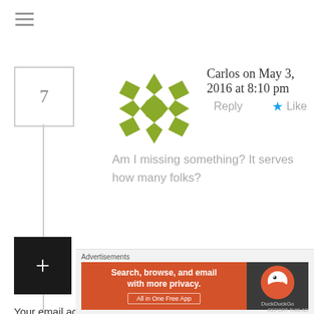[Figure (other): Hamburger menu icon with three horizontal lines]
7
[Figure (illustration): Green geometric snowflake/quilt pattern avatar for user Carlos]
Carlos on May 3, 2016 at 8:10 pm
Reply
Like
Am I missing something? It serves how many folks?
Leave a Reply
Your email address will not be published. Required fields are marked *
Comment *
[Figure (screenshot): DuckDuckGo advertisement banner: Search, browse, and email with more privacy. All in One Free App.]